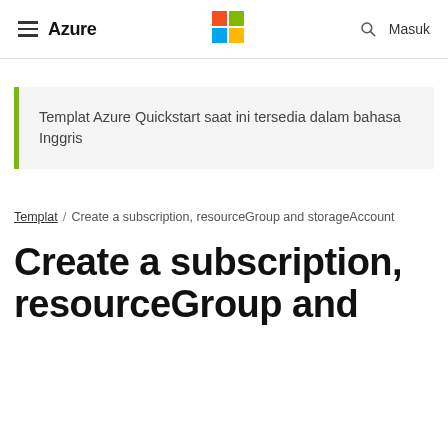≡ Azure  [Microsoft Logo]  🔍 Masuk
Templat Azure Quickstart saat ini tersedia dalam bahasa Inggris
Templat / Create a subscription, resourceGroup and storageAccount
Create a subscription, resourceGroup and